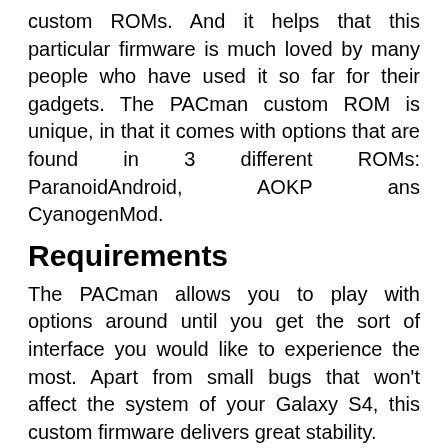custom ROMs. And it helps that this particular firmware is much loved by many people who have used it so far for their gadgets. The PACman custom ROM is unique, in that it comes with options that are found in 3 different ROMs: ParanoidAndroid, AOKP ans CyanogenMod.
Requirements
The PACman allows you to play with options around until you get the sort of interface you would like to experience the most. Apart from small bugs that won’t affect the system of your Galaxy S4, this custom firmware delivers great stability.
To get an updated Android 4.2.2 Jelly Bean, you should first consider the following requirements: have your Galaxy S4 rooted and then find a custom recovery image to flash on it (we recommend ClockworkMod Recovery, or CWM Recovery in short), gather the most